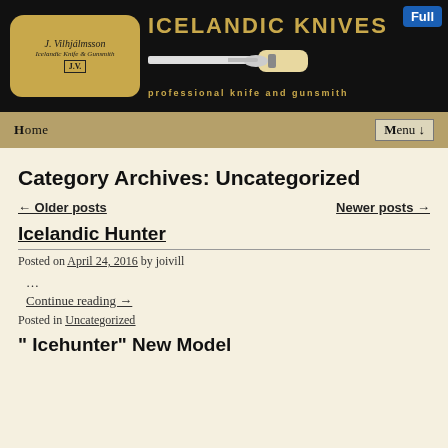[Figure (illustration): Icelandic Knives website header banner with logo on black background showing a knife, site title 'ICELANDIC KNIVES', tagline 'professional knife and gunsmith', and a 'Full' badge in top right]
Home | Menu ↓
Category Archives: Uncategorized
← Older posts   Newer posts →
Icelandic Hunter
Posted on April 24, 2016 by joivill
…
Continue reading →
Posted in Uncategorized
" Icehunter" New Model